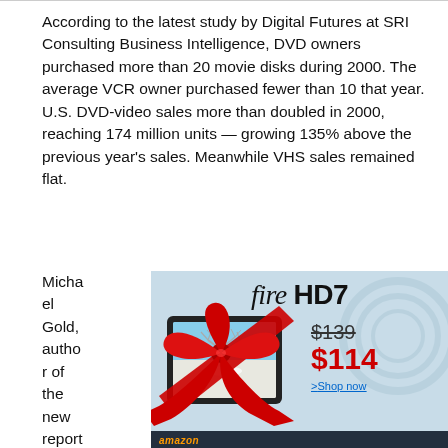According to the latest study by Digital Futures at SRI Consulting Business Intelligence, DVD owners purchased more than 20 movie disks during 2000. The average VCR owner purchased fewer than 10 that year. U.S. DVD-video sales more than doubled in 2000, reaching 174 million units — growing 135% above the previous year's sales. Meanwhile VHS sales remained flat.
Michael Gold, author of the new report, unveil
[Figure (illustration): Amazon Fire HD7 tablet advertisement. Shows a tablet wrapped with a red bow/ribbon containing a winter tree scene. Displays crossed-out price $139 and sale price $114 in red. 'Shop now' link and Amazon logo at bottom.]